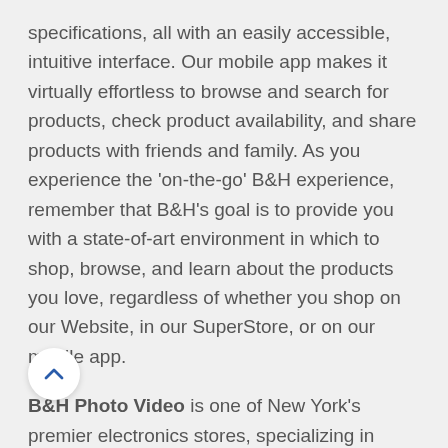specifications, all with an easily accessible, intuitive interface. Our mobile app makes it virtually effortless to browse and search for products, check product availability, and share products with friends and family. As you experience the 'on-the-go' B&H experience, remember that B&H's goal is to provide you with a state-of-art environment in which to shop, browse, and learn about the products you love, regardless of whether you shop on our Website, in our SuperStore, or on our mobile app.
B&H Photo Video is one of New York's premier electronics stores, specializing in cameras and video equipment, having one of the largest collections of such products in the entire United States. Every day, about 5,000 people visit the site, which means that more than 1.5 million tourists and New Yorkers visit the store each year, either to buy